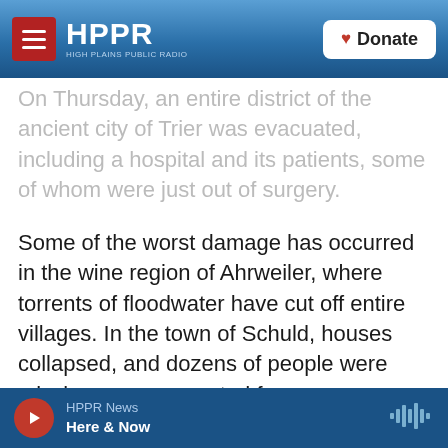HPPR — HIGH PLAINS PUBLIC RADIO | Donate
On Thursday, an entire district of the ancient city of Trier was evacuated, including a hospital and its patients, some of whom were just out of surgery.
Some of the worst damage has occurred in the wine region of Ahrweiler, where torrents of floodwater have cut off entire villages. In the town of Schuld, houses collapsed, and dozens of people were missing or unaccounted for.
Meanwhile, in Belgium, the death toll rose to 12, with five people still missing, local authorities and media reports cited by The Associated Press said early Friday.
HPPR News — Here & Now